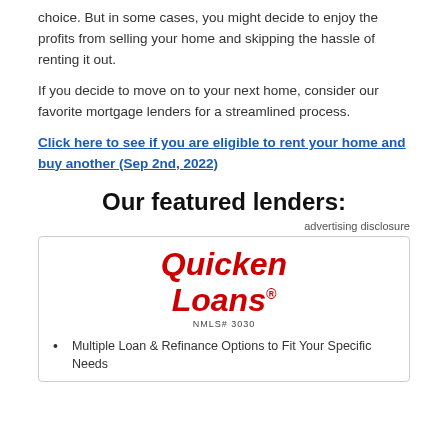choice. But in some cases, you might decide to enjoy the profits from selling your home and skipping the hassle of renting it out.
If you decide to move on to your next home, consider our favorite mortgage lenders for a streamlined process.
Click here to see if you are eligible to rent your home and buy another (Sep 2nd, 2022)
Our featured lenders:
advertising disclosure
[Figure (logo): Quicken Loans logo with NMLS# 3030]
Multiple Loan & Refinance Options to Fit Your Specific Needs